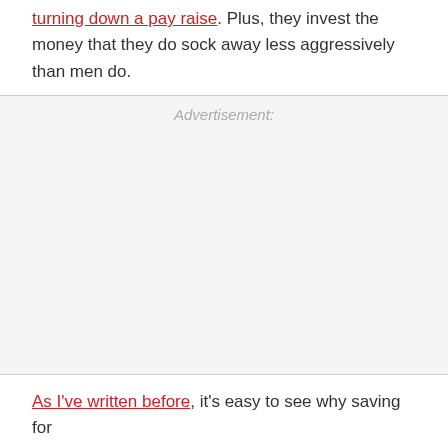turning down a pay raise. Plus, they invest the money that they do sock away less aggressively than men do.
Advertisement:
As I've written before, it's easy to see why saving for